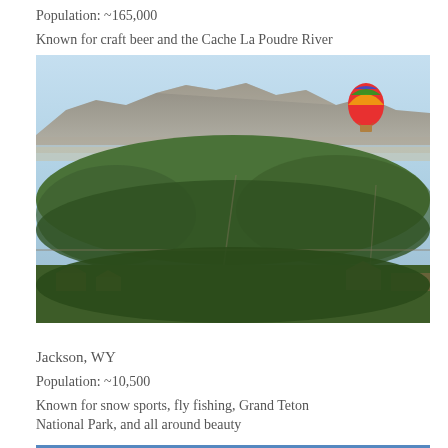Population: ~165,000
Known for craft beer and the Cache La Poudre River
[Figure (photo): Aerial view of Fort Collins, CO with tree-lined neighborhoods, city buildings in the background, mountains on the horizon, blue sky, and a colorful hot air balloon on the right side.]
Jackson, WY
Population: ~10,500
Known for snow sports, fly fishing, Grand Teton National Park, and all around beauty
[Figure (photo): Partial view of a blue-toned photo of Jackson, WY, cut off at the bottom of the page.]